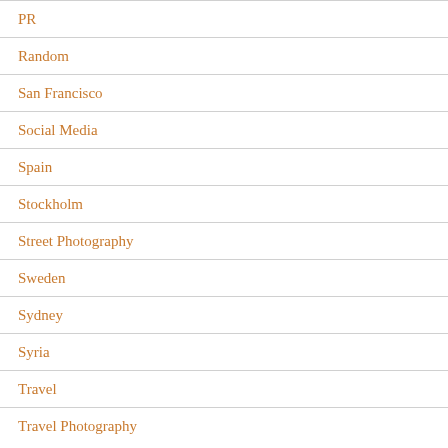PR
Random
San Francisco
Social Media
Spain
Stockholm
Street Photography
Sweden
Sydney
Syria
Travel
Travel Photography